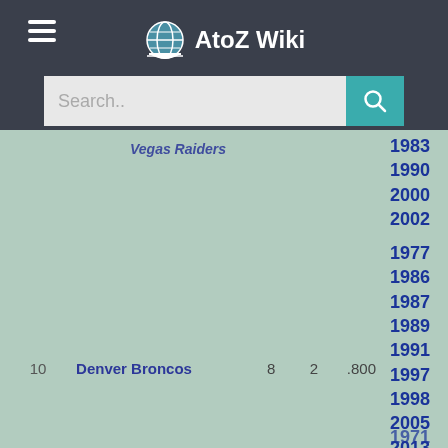AtoZ Wiki
| # | Team |  |  |  | Years |
| --- | --- | --- | --- | --- | --- |
|  | Vegas Raiders (partial) |  |  |  | 1983 1990 2000 2002 |
| 10 | Denver Broncos | 8 | 2 | .800 | 1977 1986 1987 1989 1991 1997 1998 2005 2013 2015 |
|  |  |  |  |  | 1971 |